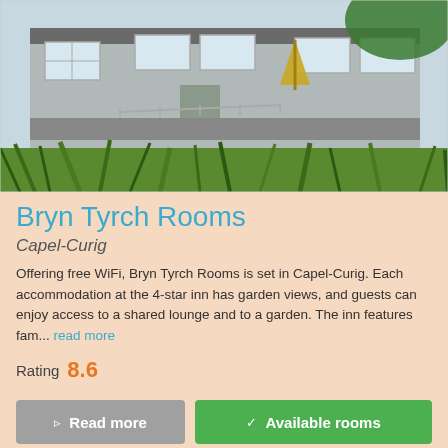[Figure (photo): Exterior photograph of Bryn Tyrch Rooms, a stone-built inn in Capel-Curig, with grass in the foreground, a yellow umbrella/flag, and trees behind the building.]
Bryn Tyrch Rooms
Capel-Curig
Offering free WiFi, Bryn Tyrch Rooms is set in Capel-Curig. Each accommodation at the 4-star inn has garden views, and guests can enjoy access to a shared lounge and to a garden. The inn features fam... read more
Rating  8.6
Read more
Available rooms